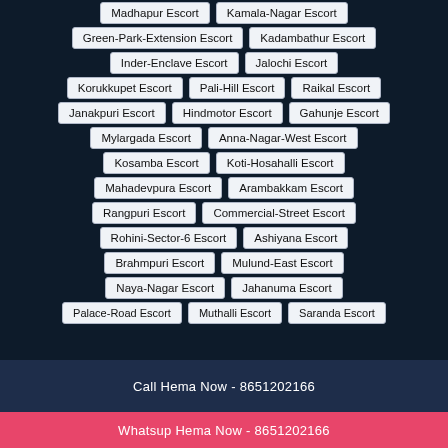Madhapur Escort
Kamala-Nagar Escort
Green-Park-Extension Escort
Kadambathur Escort
Inder-Enclave Escort
Jalochi Escort
Korukkupet Escort
Pali-Hill Escort
Raikal Escort
Janakpuri Escort
Hindmotor Escort
Gahunje Escort
Mylargada Escort
Anna-Nagar-West Escort
Kosamba Escort
Koti-Hosahalli Escort
Mahadevpura Escort
Arambakkam Escort
Rangpuri Escort
Commercial-Street Escort
Rohini-Sector-6 Escort
Ashiyana Escort
Brahmpuri Escort
Mulund-East Escort
Naya-Nagar Escort
Jahanuma Escort
Palace-Road Escort
Muthalli Escort
Saranda Escort
Call Hema Now - 8651202166
Whatsup Hema Now - 8651202166